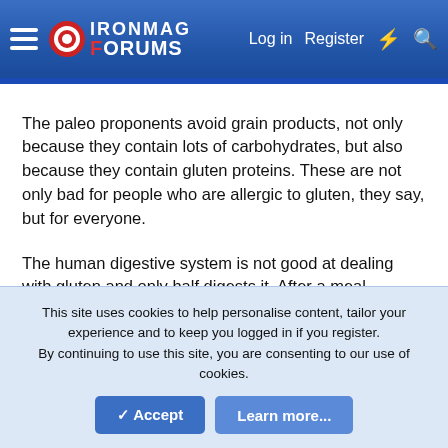IronMag Forums — Log in | Register
The paleo proponents avoid grain products, not only because they contain lots of carbohydrates, but also because they contain gluten proteins. These are not only bad for people who are allergic to gluten, they say, but for everyone.
The human digestive system is not good at dealing with gluten and only half digests it. After a meal containing grains, all sorts of peptides circulate around the body, which our immune system regards as alien intruders and tries to fight with inflammatory reactions.
This site uses cookies to help personalise content, tailor your experience and to keep you logged in if you register.
By continuing to use this site, you are consenting to our use of cookies.